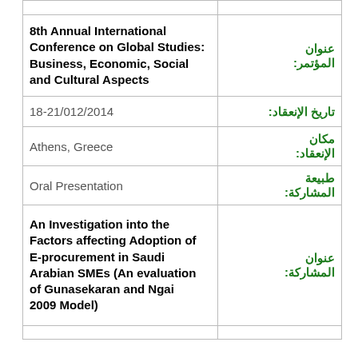| Left Content | Arabic Label |
| --- | --- |
| 8th Annual International Conference on Global Studies: Business, Economic, Social and Cultural Aspects | عنوان المؤتمر: |
| 18-21/012/2014 | تاريخ الإنعقاد: |
| Athens, Greece | مكان الإنعقاد: |
| Oral Presentation | طبيعة المشاركة: |
| An Investigation into the Factors affecting Adoption of E-procurement in Saudi Arabian SMEs (An evaluation of Gunasekaran and Ngai 2009 Model) | عنوان المشاركة: |